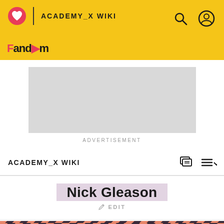ACADEMY_X WIKI
[Figure (screenshot): Fandom website header with yellow background, heart logo, ACADEMY_X WIKI title, search and user icons]
[Figure (other): Advertisement placeholder (grey rectangle)]
ADVERTISEMENT
ACADEMY_X WIKI
Nick Gleason
EDIT
[Figure (photo): Character photo with diagonal pink and dark stripe background, person visible from shoulders up]